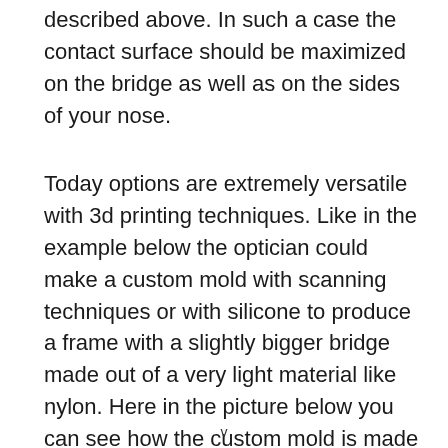described above. In such a case the contact surface should be maximized on the bridge as well as on the sides of your nose.
Today options are extremely versatile with 3d printing techniques. Like in the example below the optician could make a custom mold with scanning techniques or with silicone to produce a frame with a slightly bigger bridge made out of a very light material like nylon. Here in the picture below you can see how the custom mold is made in our optical shop to reduce the marks on your nose as much as
v